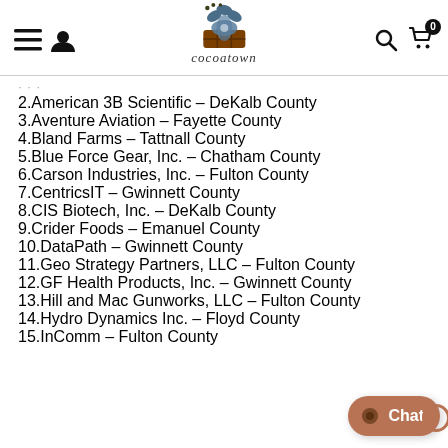cocoatown website header with logo, hamburger menu, user icon, search, and cart
2.American 3B Scientific – DeKalb County
3.Aventure Aviation – Fayette County
4.Bland Farms – Tattnall County
5.Blue Force Gear, Inc. – Chatham County
6.Carson Industries, Inc. – Fulton County
7.CentricsIT – Gwinnett County
8.CIS Biotech, Inc. – DeKalb County
9.Crider Foods – Emanuel County
10.DataPath – Gwinnett County
11.Geo Strategy Partners, LLC – Fulton County
12.GF Health Products, Inc. – Gwinnett County
13.Hill and Mac Gunworks, LLC – Fulton County
14.Hydro Dynamics Inc. – Floyd County
15.InComm – Fulton County